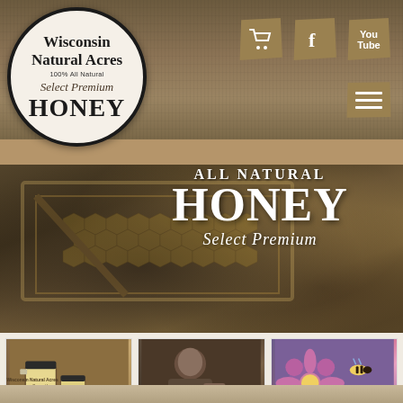[Figure (screenshot): Wisconsin Natural Acres honey brand website screenshot showing logo, navigation icons (cart, Facebook, YouTube), hero image of beehive honeycomb with 'All Natural HONEY Select Premium' text overlay, and three bottom cards: SHOP NOW, OUR STORY, OUR HONEY]
Wisconsin Natural Acres 100% All Natural Select Premium HONEY
All Natural HONEY Select Premium
SHOP NOW
OUR STORY
OUR HONEY